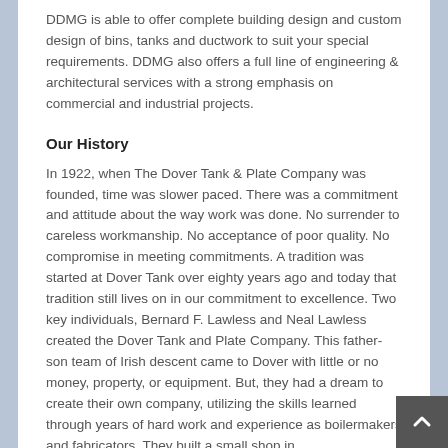DDMG is able to offer complete building design and custom design of bins, tanks and ductwork to suit your special requirements. DDMG also offers a full line of engineering & architectural services with a strong emphasis on commercial and industrial projects.
Our History
In 1922, when The Dover Tank & Plate Company was founded, time was slower paced. There was a commitment and attitude about the way work was done. No surrender to careless workmanship. No acceptance of poor quality. No compromise in meeting commitments. A tradition was started at Dover Tank over eighty years ago and today that tradition still lives on in our commitment to excellence. Two key individuals, Bernard F. Lawless and Neal Lawless created the Dover Tank and Plate Company. This father-son team of Irish descent came to Dover with little or no money, property, or equipment. But, they had a dream to create their own company, utilizing the skills learned through years of hard work and experience as boilermakers and fabricators. They built a small shop in